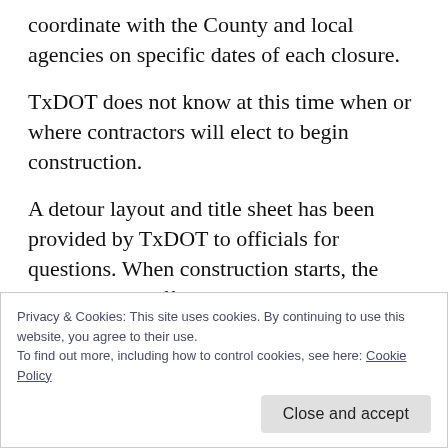coordinate with the County and local agencies on specific dates of each closure.
TxDOT does not know at this time when or where contractors will elect to begin construction.
A detour layout and title sheet has been provided by TxDOT to officials for questions. When construction starts, the TxDOT Area office and the Public Information Office will coordinate to provide advance notice of closures at intersection
Privacy & Cookies: This site uses cookies. By continuing to use this website, you agree to their use.
To find out more, including how to control cookies, see here: Cookie Policy
Close and accept